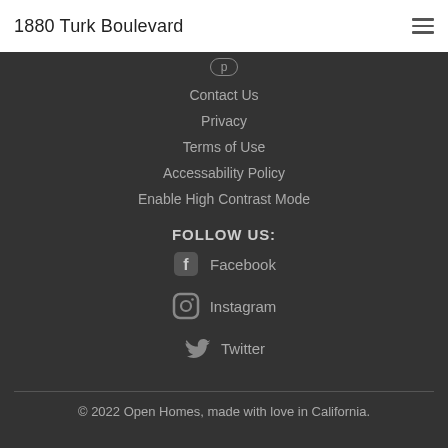1880 Turk Boulevard
Contact Us
Privacy
Terms of Use
Accessability Policy
Enable High Contrast Mode
FOLLOW US:
Facebook
Instagram
Twitter
© 2022 Open Homes, made with love in California.